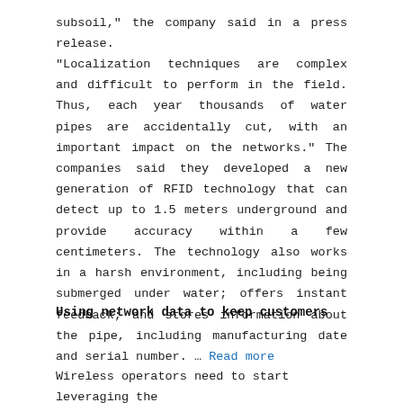subsoil," the company said in a press release. "Localization techniques are complex and difficult to perform in the field. Thus, each year thousands of water pipes are accidentally cut, with an important impact on the networks." The companies said they developed a new generation of RFID technology that can detect up to 1.5 meters underground and provide accuracy within a few centimeters. The technology also works in a harsh environment, including being submerged under water; offers instant feedback; and stores information about the pipe, including manufacturing date and serial number. ... Read more
Using network data to keep customers
Wireless operators need to start leveraging the